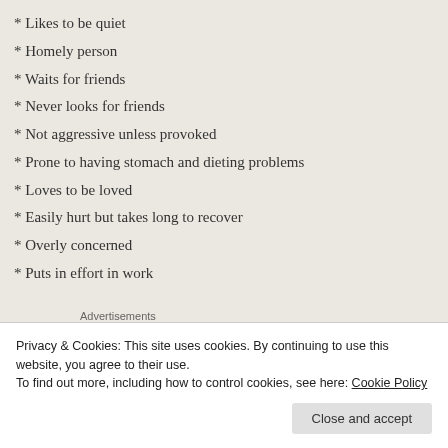* Likes to be quiet
* Homely person
* Waits for friends
* Never looks for friends
* Not aggressive unless provoked
* Prone to having stomach and dieting problems
* Loves to be loved
* Easily hurt but takes long to recover
* Overly concerned
* Puts in effort in work
Advertisements
[Figure (other): Advertisement banner: 'The go-to app for podcast' with green triangle graphic in top right corner]
Privacy & Cookies: This site uses cookies. By continuing to use this website, you agree to their use.
To find out more, including how to control cookies, see here: Cookie Policy
Close and accept